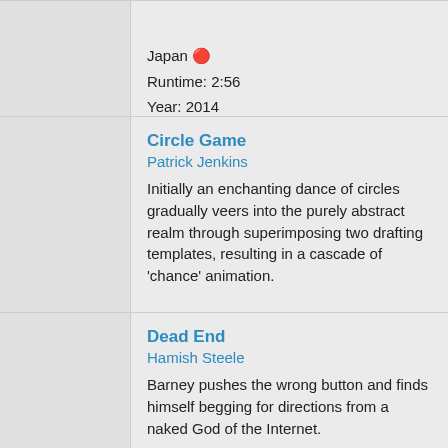Japan 🔴
Runtime: 2:56
Year: 2014
Circle Game
Patrick Jenkins
Initially an enchanting dance of circles gradually veers into the purely abstract realm through superimposing two drafting templates, resulting in a cascade of 'chance' animation.
Canada 🇨🇦
Runtime: 1:02
Year: 2014
Dead End
Hamish Steele
Barney pushes the wrong button and finds himself begging for directions from a naked God of the Internet.
United States 🇺🇸
Runtime: 4:56